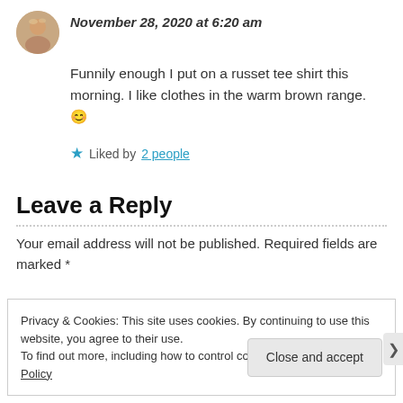[Figure (photo): Circular avatar photo of a person with light hair]
November 28, 2020 at 6:20 am
Funnily enough I put on a russet tee shirt this morning. I like clothes in the warm brown range. 😊
★ Liked by 2 people
Leave a Reply
Your email address will not be published. Required fields are marked *
Privacy & Cookies: This site uses cookies. By continuing to use this website, you agree to their use.
To find out more, including how to control cookies, see here: Cookie Policy
Close and accept